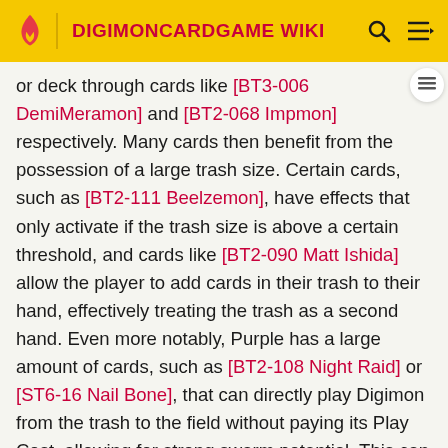DIGIMONCARDGAME WIKI
or deck through cards like [BT3-006 DemiMeramon] and [BT2-068 Impmon] respectively. Many cards then benefit from the possession of a large trash size. Certain cards, such as [BT2-111 Beelzemon], have effects that only activate if the trash size is above a certain threshold, and cards like [BT2-090 Matt Ishida] allow the player to add cards in their trash to their hand, effectively treating the trash as a second hand. Even more notably, Purple has a large amount of cards, such as [BT2-108 Night Raid] or [ST6-16 Nail Bone], that can directly play Digimon from the trash to the field without paying its Play Cost, allowing for strong swarm potential. This can be further capitalized by a card like [BT4-087 Anubismon], which grants <Rush> to Digimon that are played from the trash.